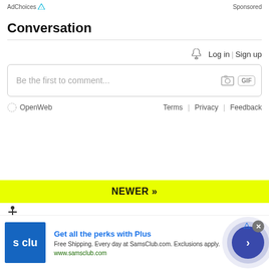AdChoices | Sponsored
Conversation
Log in | Sign up
Be the first to comment...
OpenWeb   Terms | Privacy | Feedback
NEWER »
[Figure (screenshot): Bottom advertisement for Sam's Club Plus membership. Shows blue logo with 's clu' text, headline 'Get all the perks with Plus', body text 'Free Shipping. Every day at SamsClub.com. Exclusions apply.', URL 'www.samsclub.com', close button, AdChoices icon, and a navy arrow button.]